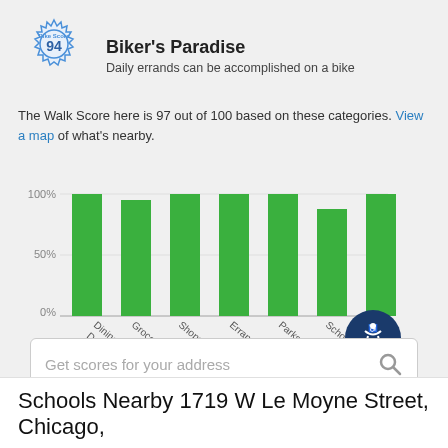[Figure (infographic): Bike Score badge showing score of 94 with gear/cog design and 'Bike Score' label in blue]
Biker's Paradise
Daily errands can be accomplished on a bike
The Walk Score here is 97 out of 100 based on these categories. View a map of what's nearby.
[Figure (bar-chart): Walk Score categories]
Get scores for your address
Schools Nearby 1719 W Le Moyne Street, Chicago,